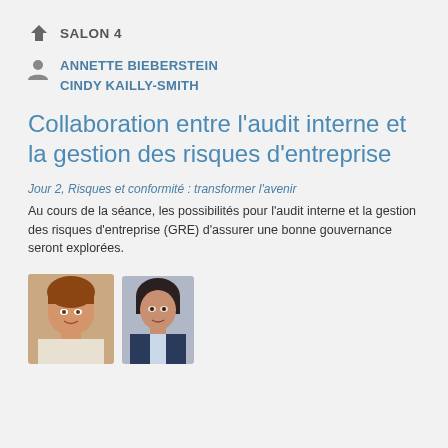SALON 4
ANNETTE BIEBERSTEIN
CINDY KAILLY-SMITH
Collaboration entre l'audit interne et la gestion des risques d'entreprise
Jour 2, Risques et conformité : transformer l'avenir
Au cours de la séance, les possibilités pour l'audit interne et la gestion des risques d'entreprise (GRE) d'assurer une bonne gouvernance seront explorées.
[Figure (photo): Two portrait photos of the speakers Annette Bieberstein and Cindy Kailly-Smith]